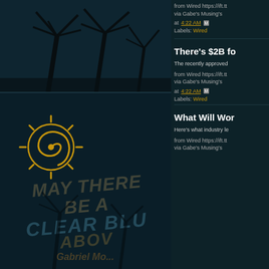[Figure (photo): Dark nighttime scene with silhouetted palm trees at top left]
[Figure (illustration): Dark scene with golden sun spiral icon, watermark text 'MAY THERE BE CLEAR BLUE' and 'ABOVE', Gabriel Morales watermark, palm trees silhouette]
from Wired https://ift.tt via Gabe's Musing's
at 4:22 AM
Labels: Wired
There's $2B fo
The recently approved
from Wired https://ift.tt via Gabe's Musing's
at 4:22 AM
Labels: Wired
What Will Wor
Here's what industry le
from Wired https://ift.tt via Gabe's Musing's